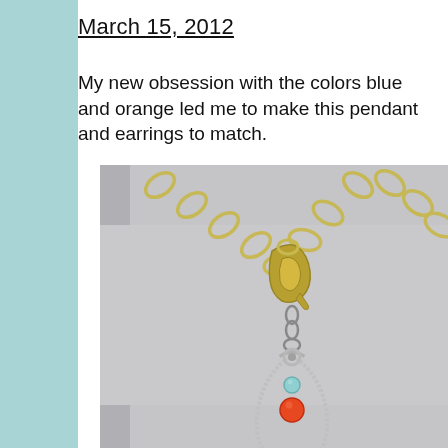March 15, 2012
My new obsession with the colors blue and orange led me to make this pendant and earrings to match.
[Figure (photo): Close-up photograph of a handmade jewelry pendant on a gold chain. The pendant features a silver wire twisted into a teardrop/loop shape with a small turquoise/aqua bead and an orange bead. A gold lobster clasp is visible at the top center of the chain.]